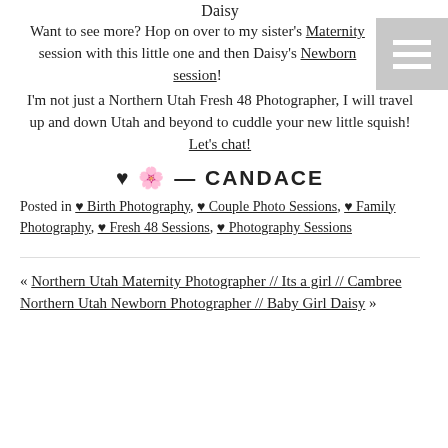Daisy
Want to see more? Hop on over to my sister's Maternity session with this little one and then Daisy's Newborn session!
I'm not just a Northern Utah Fresh 48 Photographer, I will travel up and down Utah and beyond to cuddle your new little squish! Let's chat!
♥ 🌼 — CANDACE
Posted in ♥ Birth Photography, ♥ Couple Photo Sessions, ♥ Family Photography, ♥ Fresh 48 Sessions, ♥ Photography Sessions
« Northern Utah Maternity Photographer // Its a girl // Cambree
Northern Utah Newborn Photographer // Baby Girl Daisy »